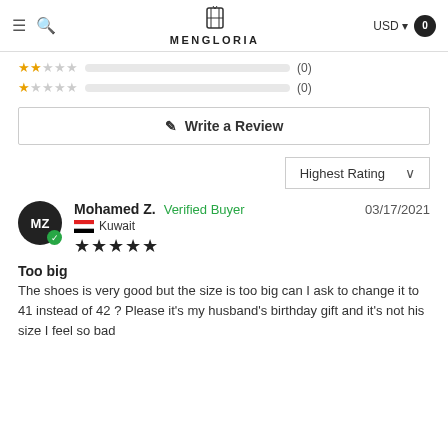MENGLORIA — USD — Cart (0)
[Figure (other): Star rating rows: 2-star row with empty bar (0), 1-star row with empty bar (0)]
✎ Write a Review
Highest Rating ∨
Mohamed Z. Verified Buyer 03/17/2021 Kuwait ★★★★★
Too big
The shoes is very good but the size is too big can I ask to change it to 41 instead of 42 ? Please it's my husband's birthday gift and it's not his size I feel so bad